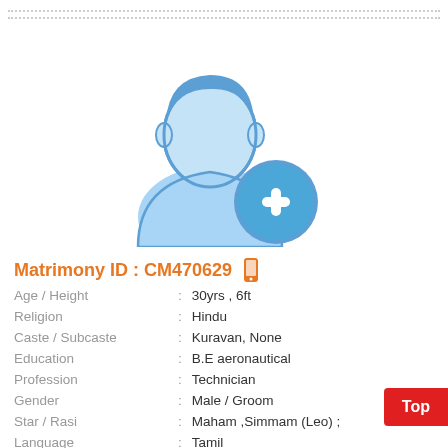[Figure (illustration): Male profile silhouette placeholder icon with a blue add/plus button overlay, rendered in light blue tones]
Matrimony ID : CM470629
| Age / Height | : | 30yrs , 6ft |
| Religion | : | Hindu |
| Caste / Subcaste | : | Kuravan, None |
| Education | : | B.E aeronautical |
| Profession | : | Technician |
| Gender | : | Male / Groom |
| Star / Rasi | : | Maham ,Simmam (Leo) ; |
| Language | : | Tamil |